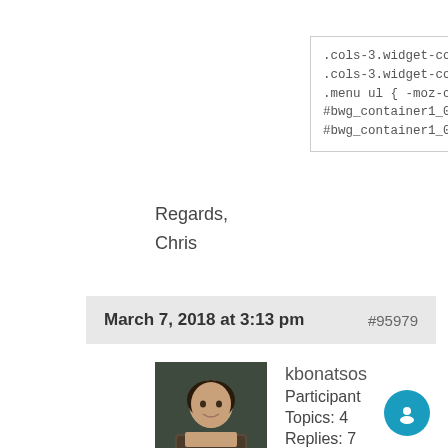[Figure (screenshot): Code block showing CSS selectors including .cols-3.widget-column-3, .cols-3.widget-column-2, .menu ul, #bwg_container1_0 lines]
Regards,
Chris
March 7, 2018 at 3:13 pm   #95979
[Figure (photo): Avatar photo of user kbonatsos - a man with short dark hair]
kbonatsos
Participant
Topics: 4
Replies: 7
Total: 11
Member since: February 12, 2018